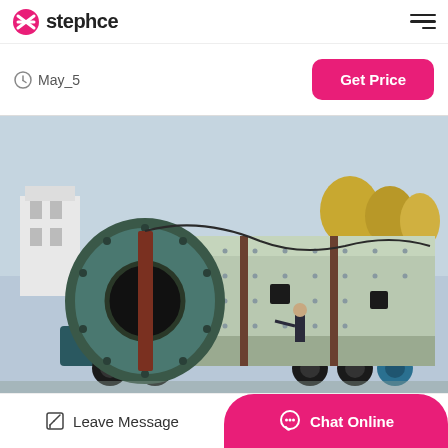stephce
May_5
Get Price
[Figure (photo): Large industrial ball mill or rotary drum mounted on a flatbed truck, with a large circular end plate with a central hole, painted in teal/green-grey. A person stands next to it for scale. Buildings and trees visible in background.]
Leave Message
Chat Online